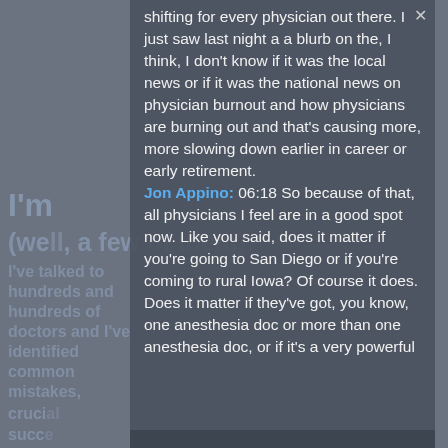I'm going to say (well, a few of them): I've talked to hundreds and hundreds of doctors and I've identified common mistakes, crucial... success...
This Guide Gives You the Keys I've distilled...
shifting for every physician out there. I just saw last night a a blurb on the, I think, I don't know if it was the local news or if it was the national news on physician burnout and how physicians are burning out and that's causing more, more slowing down earlier in career or early retirement.
Jon Appino: 06:18 So because of that, all physicians I feel are in a good spot now. Like you said, does it matter if you're going to San Diego or if you're coming to rural Iowa? Of course it does. Does it matter if they've got, you know, one anesthesia doc or more than one anesthesia doc, or if it's a very powerful